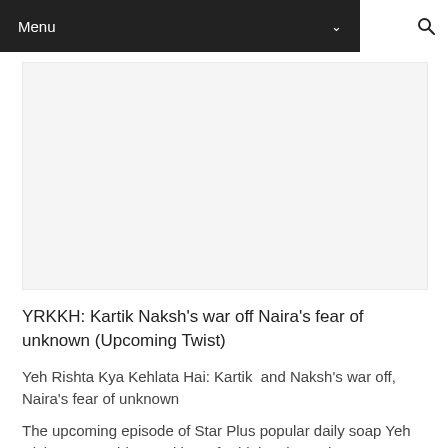Menu
[Figure (other): Advertisement / empty image placeholder area]
YRKKH: Kartik Naksh's war off Naira's fear of unknown (Upcoming Twist)
Yeh Rishta Kya Kehlata Hai: Kartik  and Naksh's war off, Naira's fear of unknown
The upcoming episode of Star Plus popular daily soap Yeh Rishta Kya Kehlata Hai is up for high voltage drama.